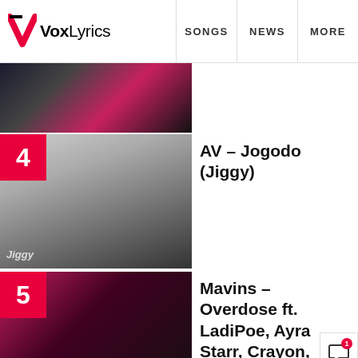VoxLyrics | SONGS | NEWS | MORE
[Figure (photo): Thumbnail image, partially visible at top]
4 AV – Jogodo (Jiggy)
[Figure (photo): AV Jogodo Jiggy album art - figure in black jumping]
5 Mavins – Overdose ft. LadiPoe, Ayra Starr, Crayon, Magixx, Boy Spyce
[Figure (photo): Mavins Overdose music video thumbnail - group in pink/red lighting]
More trending posts
YOU MAY LIKE
Simi – Logba Logba (Video)
[Figure (photo): Simi Logba Logba video thumbnail]